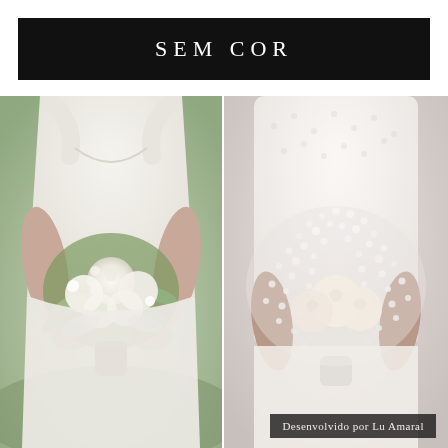SEM COR
[Figure (photo): Bride in white off-shoulder gown holding a lush white and green floral bouquet with roses and eucalyptus]
[Figure (photo): Bride in white lace gown holding a delicate bouquet of white baby's breath and cream roses]
Desenvolvido por Lu Amaral